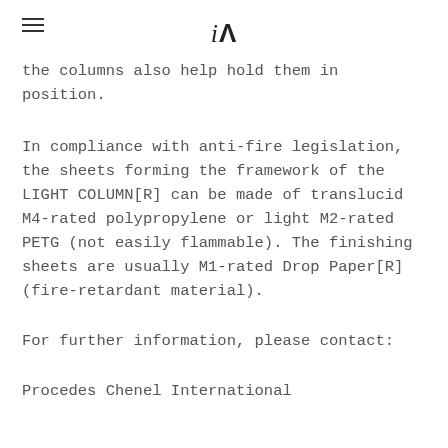iA
the columns also help hold them in position.
In compliance with anti-fire legislation, the sheets forming the framework of the LIGHT COLUMN[R] can be made of translucid M4-rated polypropylene or light M2-rated PETG (not easily flammable). The finishing sheets are usually M1-rated Drop Paper[R] (fire-retardant material).
For further information, please contact:
Procedes Chenel International